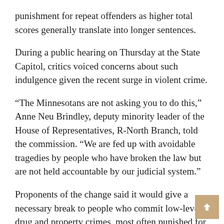punishment for repeat offenders as higher total scores generally translate into longer sentences.
During a public hearing on Thursday at the State Capitol, critics voiced concerns about such indulgence given the recent surge in violent crime.
“The Minnesotans are not asking you to do this,” Anne Neu Brindley, deputy minority leader of the House of Representatives, R-North Branch, told the commission. “We are fed up with avoidable tragedies by people who have broken the law but are not held accountable by our judicial system.”
Proponents of the change said it would give a necessary break to people who commit low-level drug and property crimes, most often punished for offenses while on parole or parole.
“The emphasis on detaining these perpetrators and the inattention to solving violent crimes is a leading cause of criminal justice dysfunction in this country,” said Will Cooley of